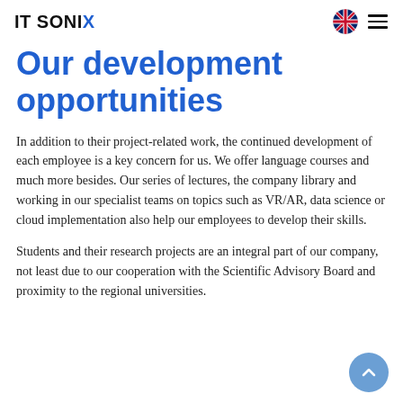IT SONIX
Our development opportunities
In addition to their project-related work, the continued development of each employee is a key concern for us. We offer language courses and much more besides. Our series of lectures, the company library and working in our specialist teams on topics such as VR/AR, data science or cloud implementation also help our employees to develop their skills.
Students and their research projects are an integral part of our company, not least due to our cooperation with the Scientific Advisory Board and proximity to the regional universities.